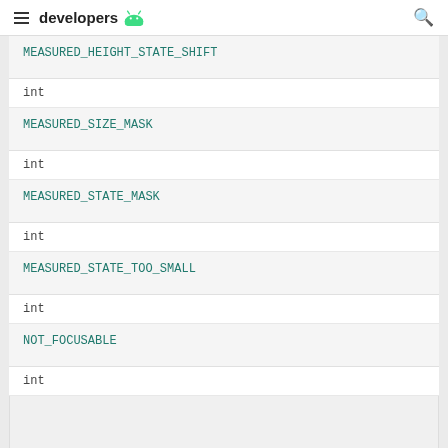developers (Android logo)
| type | name |
| --- | --- |
|  | MEASURED_HEIGHT_STATE_SHIFT |
| int |  |
|  | MEASURED_SIZE_MASK |
| int |  |
|  | MEASURED_STATE_MASK |
| int |  |
|  | MEASURED_STATE_TOO_SMALL |
| int |  |
|  | NOT_FOCUSABLE |
| int |  |